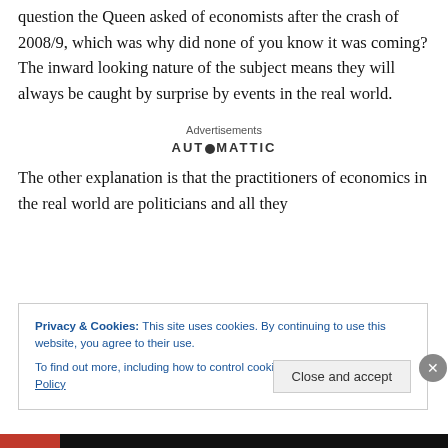question the Queen asked of economists after the crash of 2008/9, which was why did none of you know it was coming? The inward looking nature of the subject means they will always be caught by surprise by events in the real world.
Advertisements
[Figure (logo): AUTOMATTIC logo text]
The other explanation is that the practitioners of economics in the real world are politicians and all they
Privacy & Cookies: This site uses cookies. By continuing to use this website, you agree to their use.
To find out more, including how to control cookies, see here: Cookie Policy
Close and accept